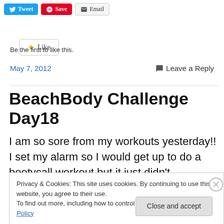[Figure (screenshot): Social sharing buttons: Tweet (blue), Save (red), Email (grey)]
[Figure (screenshot): Like button with star icon]
Be the first to like this.
May 7, 2012   💬 Leave a Reply
BeachBody Challenge Day18
I am so sore from my workouts yesterday!! I set my alarm so I would get up to do a bootycall workout but it just didn't
Privacy & Cookies: This site uses cookies. By continuing to use this website, you agree to their use.
To find out more, including how to control cookies, see here: Cookie Policy
Close and accept